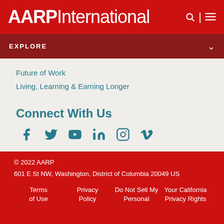AARP International
EXPLORE
Future of Work
Living, Learning & Earning Longer
Connect With Us
[Figure (infographic): Social media icons: Facebook, Twitter, YouTube, LinkedIn, Instagram, Vimeo in teal color]
© 2022 AARP
601 E St NW, Washington, District of Columbia 20049 US
Terms of Use  Privacy Policy  Do Not Sell My Personal  Your California Privacy Rights